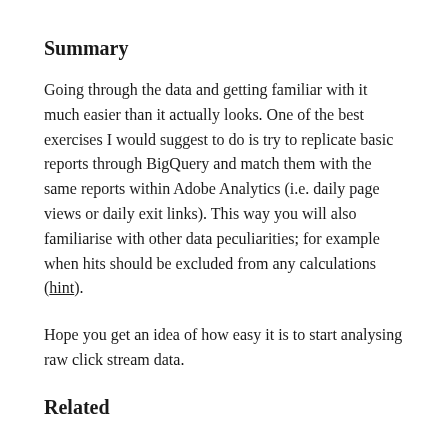Summary
Going through the data and getting familiar with it much easier than it actually looks. One of the best exercises I would suggest to do is try to replicate basic reports through BigQuery and match them with the same reports within Adobe Analytics (i.e. daily page views or daily exit links). This way you will also familiarise with other data peculiarities; for example when hits should be excluded from any calculations (hint).
Hope you get an idea of how easy it is to start analysing raw click stream data.
Related